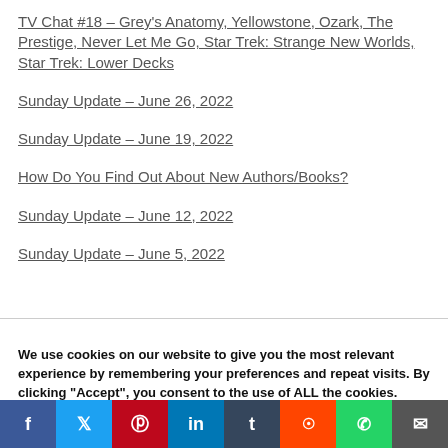TV Chat #18 – Grey's Anatomy, Yellowstone, Ozark, The Prestige, Never Let Me Go, Star Trek: Strange New Worlds, Star Trek: Lower Decks
Sunday Update – June 26, 2022
Sunday Update – June 19, 2022
How Do You Find Out About New Authors/Books?
Sunday Update – June 12, 2022
Sunday Update – June 5, 2022
We use cookies on our website to give you the most relevant experience by remembering your preferences and repeat visits. By clicking "Accept", you consent to the use of ALL the cookies. View our Privacy Policy
Do not sell my personal information.
Cookie Settings | Accept
f | t | P | in | t | reddit | whatsapp | email